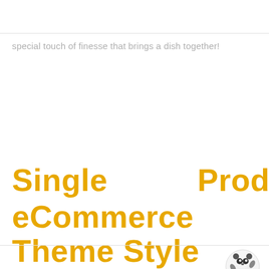special touch of finesse that brings a dish together!
Single Product - eCommerce Theme Style
[Figure (illustration): Small cartoon mascot character (panda-like animal) in the bottom right corner]